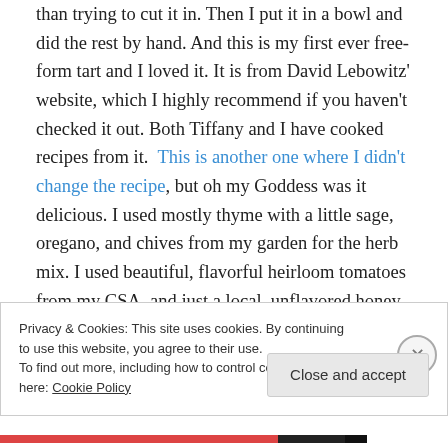than trying to cut it in. Then I put it in a bowl and did the rest by hand. And this is my first ever free-form tart and I loved it. It is from David Lebowitz' website, which I highly recommend if you haven't checked it out. Both Tiffany and I have cooked recipes from it.  This is another one where I didn't change the recipe, but oh my Goddess was it delicious. I used mostly thyme with a little sage, oregano, and chives from my garden for the herb mix. I used beautiful, flavorful heirloom tomatoes from my CSA, and just a local, unflavored honey. People, you have to try this. It is one of the tastiest things I have ever made, and it is
Privacy & Cookies: This site uses cookies. By continuing to use this website, you agree to their use.
To find out more, including how to control cookies, see here: Cookie Policy
Close and accept